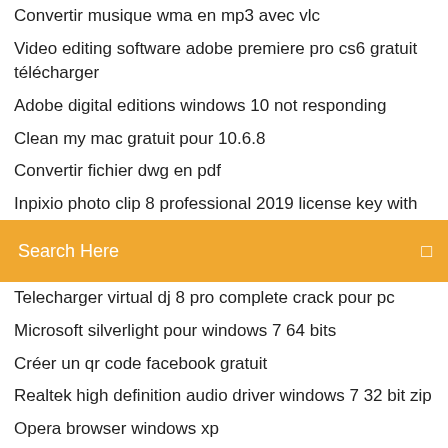Convertir musique wma en mp3 avec vlc
Video editing software adobe premiere pro cs6 gratuit télécharger
Adobe digital editions windows 10 not responding
Clean my mac gratuit pour 10.6.8
Convertir fichier dwg en pdf
Inpixio photo clip 8 professional 2019 license key with
Search Here
Telecharger virtual dj 8 pro complete crack pour pc
Microsoft silverlight pour windows 7 64 bits
Créer un qr code facebook gratuit
Realtek high definition audio driver windows 7 32 bit zip
Opera browser windows xp
Comment installer un mode sur minecraft 1.14
Télécharger itunes windows vista gratuit
Harry potter 8 télécharger free
Logiciel gratuit pour lettre de motivation
Je veux télécharger mon whatsapp